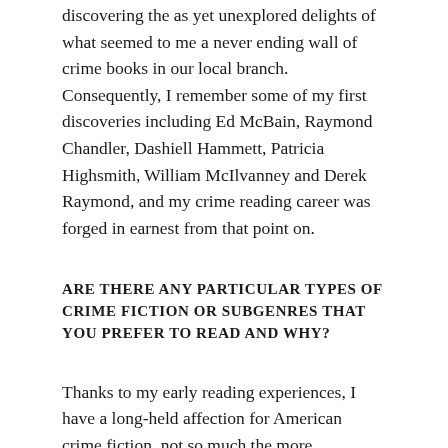discovering the as yet unexplored delights of what seemed to me a never ending wall of crime books in our local branch. Consequently, I remember some of my first discoveries including Ed McBain, Raymond Chandler, Dashiell Hammett, Patricia Highsmith, William McIlvanney and Derek Raymond, and my crime reading career was forged in earnest from that point on.
ARE THERE ANY PARTICULAR TYPES OF CRIME FICTION OR SUBGENRES THAT YOU PREFER TO READ AND WHY?
Thanks to my early reading experiences, I have a long-held affection for American crime fiction, not so much the more mainstream ‘mass-produced’ authors, but those that practice the noble art of sparsity and social awareness underscored with a